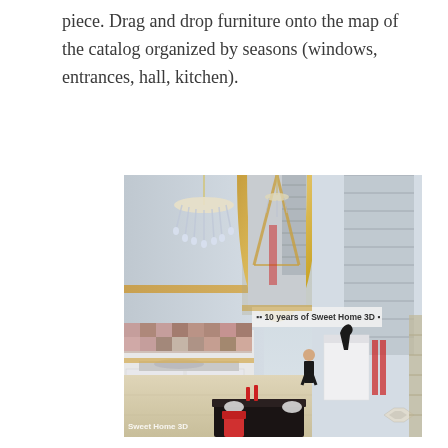piece. Drag and drop furniture onto the map of the catalog organized by seasons (windows, entrances, hall, kitchen).
[Figure (photo): 3D rendered interior of a modern home showroom featuring a chandelier, arched doorway, kitchen with checkered backsplash, dining table with red chairs, and a female figure standing in the space. Watermark reads 'Sweet Home 3D' and '10 years of Sweet Home 3D'.]